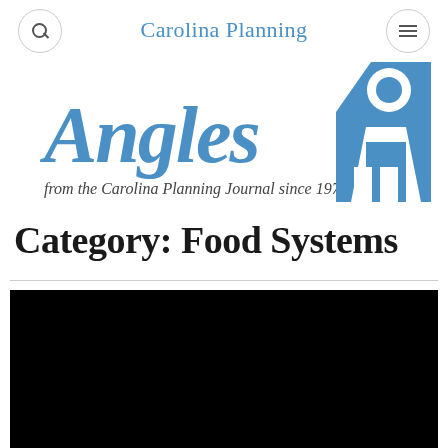Carolina Planning
[Figure (logo): Angles from the Carolina Planning Journal since 1974 logo with blue stylized figure/letters mark on the right]
Category: Food Systems
[Figure (photo): Black image area at bottom of page]